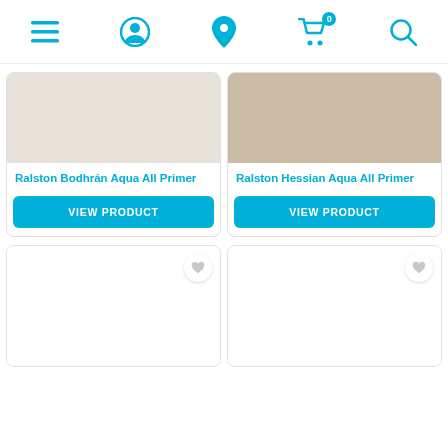Navigation bar with menu, account, location, cart (0), and search icons
[Figure (screenshot): Product image for Ralston Bodhrán Aqua All Primer — light beige/cream color swatch]
Ralston Bodhrán Aqua All Primer
VIEW PRODUCT
[Figure (screenshot): Product image for Ralston Hessian Aqua All Primer — warm tan/khaki color swatch]
Ralston Hessian Aqua All Primer
VIEW PRODUCT
[Figure (screenshot): Third product card — blank white image with heart/wishlist icon]
[Figure (screenshot): Fourth product card — blank white image with heart/wishlist icon]